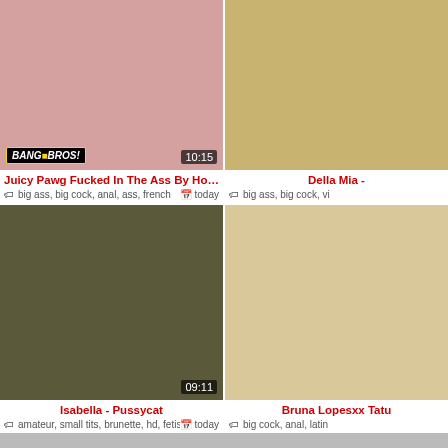[Figure (screenshot): Video thumbnail 1 - close up skin tones with BangBros logo, duration 10:15]
[Figure (screenshot): Video thumbnail 2 - yellow tones, partially cropped]
Juicy Pawg Fucked In The Ass By Horny Frenchman…
Della Mia -
big ass, big cock, anal, ass, french
today
big ass, big cock, vi
[Figure (screenshot): Video thumbnail 3 - two brunette women indoors with plant, duration 09:11]
[Figure (screenshot): Video thumbnail 4 - skin tones beige, partially cropped]
Isabella - Pussycat
Bruna Lopesxx Tatu
amateur, small tits, brunette, hd, fetish
today
big cock, anal, latin